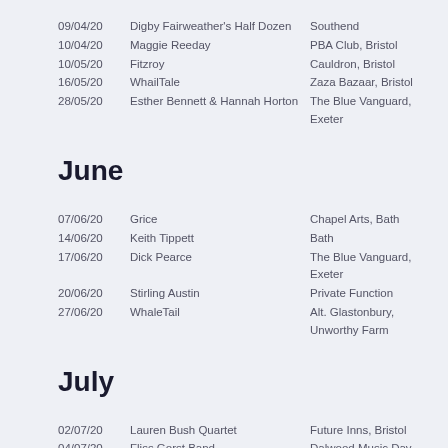09/04/20  Digby Fairweather's Half Dozen  Southend
10/04/20  Maggie Reeday  PBA Club, Bristol
10/05/20  Fitzroy  Cauldron, Bristol
16/05/20  WhailTale  Zaza Bazaar, Bristol
28/05/20  Esther Bennett & Hannah Horton  The Blue Vanguard, Exeter
June
07/06/20  Grice  Chapel Arts, Bath
14/06/20  Keith Tippett  Bath
17/06/20  Dick Pearce  The Blue Vanguard, Exeter
20/06/20  Stirling Austin  Private Function
27/06/20  WhaleTail  Alt. Glastonbury, Unworthy Farm
July
02/07/20  Lauren Bush Quartet  Future Inns, Bristol
04/07/20  Fliss Gorst Band  Dalwood Music Day
07/07/20  Lauren Bush Quartet  St Ives Jazz Club